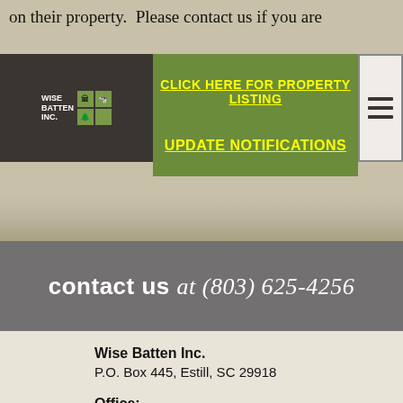on their property.  Please contact us if you are interested in learning more about conservation easements.
[Figure (logo): Wise Batten Inc. logo with green icon boxes]
CLICK HERE FOR PROPERTY LISTING
UPDATE NOTIFICATIONS
contact us at (803) 625-4256
Wise Batten Inc.
P.O. Box 445, Estill, SC 29918
Office:
761 Third Street E., Estill, SC 29918